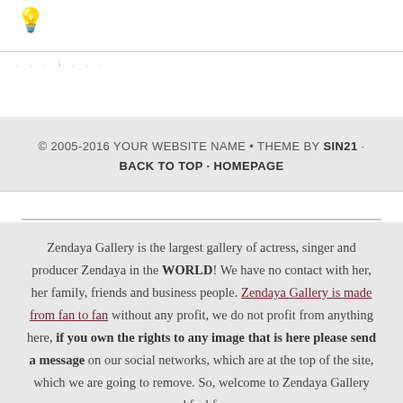[Figure (illustration): Yellow lightbulb icon in top-left corner of page header]
. . . i . . .
© 2005-2016 YOUR WEBSITE NAME • THEME BY SIN21 • BACK TO TOP • HOMEPAGE
Zendaya Gallery is the largest gallery of actress, singer and producer Zendaya in the WORLD! We have no contact with her, her family, friends and business people. Zendaya Gallery is made from fan to fan without any profit, we do not profit from anything here, if you own the rights to any image that is here please send a message on our social networks, which are at the top of the site, which we are going to remove. So, welcome to Zendaya Gallery and feel free.